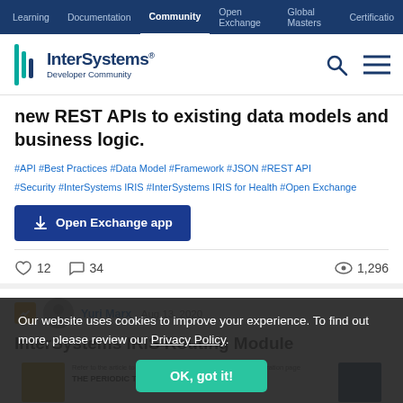Learning | Documentation | Community | Open Exchange | Global Masters | Certification
[Figure (logo): InterSystems Developer Community logo with navigation icons]
new REST APIs to existing data models and business logic.
#API #Best Practices #Data Model #Framework #JSON #REST API #Security #InterSystems IRIS #InterSystems IRIS for Health #Open Exchange
Open Exchange app
12  34  1,296
Yuri Marx  Aug 13, 2020
InterSystems IRIS Routing Module
Our website uses cookies to improve your experience. To find out more, please review our Privacy Policy.
OK, got it!